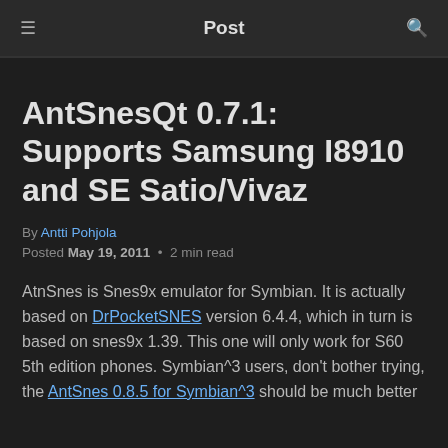Post
AntSnesQt 0.7.1: Supports Samsung I8910 and SE Satio/Vivaz
By Antti Pohjola
Posted May 19, 2011 • 2 min read
AtnSnes is Snes9x emulator for Symbian. It is actually based on DrPocketSNES version 6.4.4, which in turn is based on snes9x 1.39. This one will only work for S60 5th edition phones. Symbian^3 users, don't bother trying, the AntSnes 0.8.5 for Symbian^3 should be much better